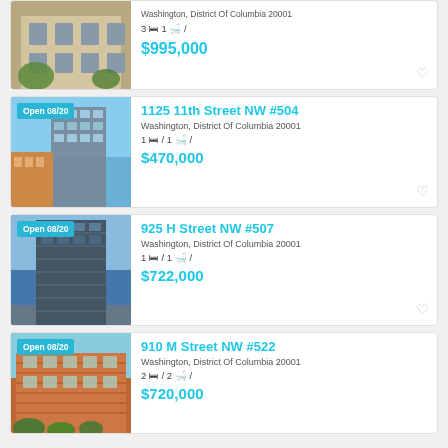[Figure (photo): Photo of a stone townhouse with trees, no open house badge]
Washington, District Of Columbia 20001
3 bed / 1 bath
$995,000
[Figure (photo): Photo of a modern glass high-rise building with Open 08/20 badge]
1125 11th Street NW #504
Washington, District Of Columbia 20001
1 bed / 1 bath
$470,000
[Figure (photo): Photo of a dark glass high-rise building with Open 08/20 badge]
925 H Street NW #507
Washington, District Of Columbia 20001
1 bed / 1 bath
$722,000
[Figure (photo): Photo of a brick mid-rise apartment building with Open 08/20 badge]
910 M Street NW #522
Washington, District Of Columbia 20001
2 bed / 2 bath
$720,000